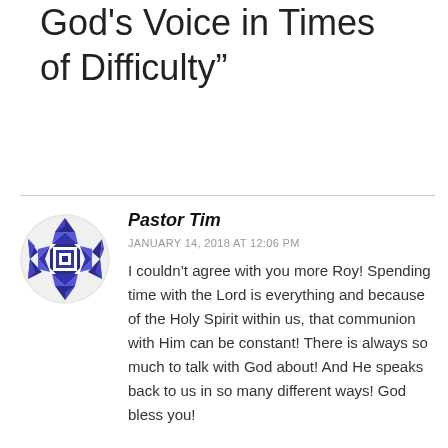God's Voice in Times of Difficulty”
[Figure (illustration): Circular avatar image with blue and white geometric diamond/triangle pattern resembling a decorative tile design, used as a user profile picture for Pastor Tim]
Pastor Tim
JANUARY 14, 2018 AT 12:06 PM
I couldn’t agree with you more Roy! Spending time with the Lord is everything and because of the Holy Spirit within us, that communion with Him can be constant! There is always so much to talk with God about! And He speaks back to us in so many different ways! God bless you!